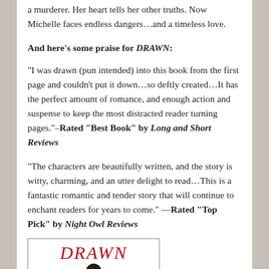a murderer. Her heart tells her other truths. Now Michelle faces endless dangers…and a timeless love.
And here's some praise for DRAWN:
“I was drawn (pun intended) into this book from the first page and couldn’t put it down…so deftly created…It has the perfect amount of romance, and enough action and suspense to keep the most distracted reader turning pages.”–Rated “Best Book” by Long and Short Reviews
“The characters are beautifully written, and the story is witty, charming, and an utter delight to read…This is a fantastic romantic and tender story that will continue to enchant readers for years to come.” —Rated “Top Pick” by Night Owl Reviews
[Figure (illustration): Book cover for DRAWN showing red stylized title text and a silhouette of a person with dark hair, framed by a rectangular border.]